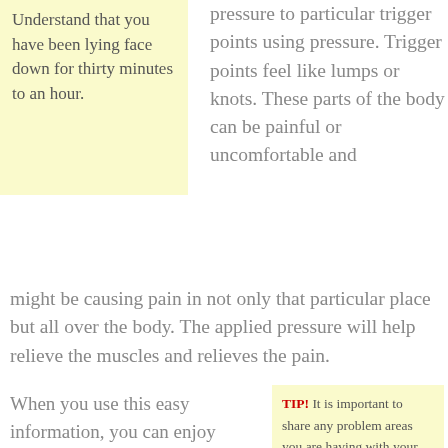Understand that you have been lying face down for thirty minutes to an hour.
pressure to particular trigger points using pressure. Trigger points feel like lumps or knots. These parts of the body can be painful or uncomfortable and might be causing pain in not only that particular place but all over the body. The applied pressure will help relieve the muscles and relieves the pain.
When you use this easy information, you can enjoy massage more than ever. This will make you more confident in all your adventures. Continue reading and keep learning to make sure that you always have
TIP! It is important to share any problem areas you are having with your massage therapist. Your therapist will want to target your problem